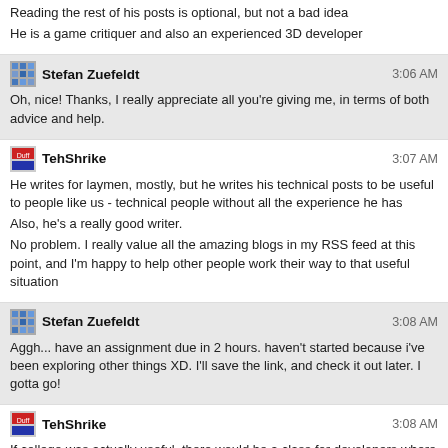Reading the rest of his posts is optional, but not a bad idea
He is a game critiquer and also an experienced 3D developer
Stefan Zuefeldt  3:06 AM
Oh, nice! Thanks, I really appreciate all you're giving me, in terms of both advice and help.
TehShrike  3:07 AM
He writes for laymen, mostly, but he writes his technical posts to be useful to people like us - technical people without all the experience he has
Also, he's a really good writer.
No problem. I really value all the amazing blogs in my RSS feed at this point, and I'm happy to help other people work their way to that useful situation
Stefan Zuefeldt  3:08 AM
Aggh... have an assignment due in 2 hours. haven't started because i've been exploring other things XD. I'll save the link, and check it out later. I gotta go!
TehShrike  3:08 AM
If college was actually useful, there would be a class for developers where all you did was talk about which blogs were essential for programmers to follow, and which posts were required reading
@StefanZuefeldt Good luck! :-)
Stefan Zuefeldt  3:08 AM
Thank you... Its just a little openGL though... should be no issue...
Good night!
Maxpm  3:11 AM